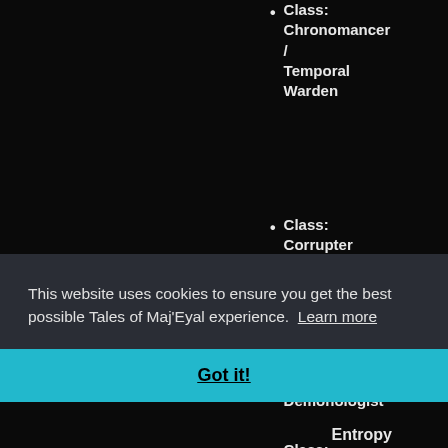Class: Chronomancer / Temporal Warden
Class: Corrupter / Corruptor
Class: Corrupter / Demonologist
Class: (partial, cut off)
This website uses cookies to ensure you get the best possible Tales of Maj'Eyal experience.  Learn more
Got it!
Entropy